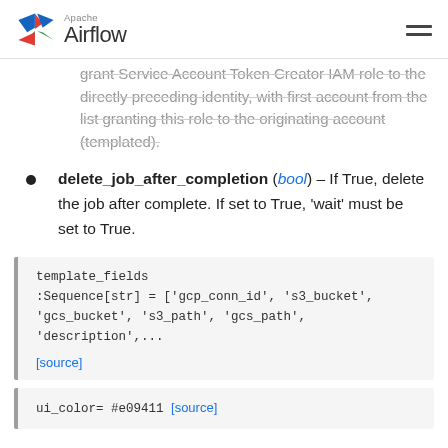Apache Airflow
grant Service Account Token Creator IAM role to the directly preceding identity, with first account from the list granting this role to the originating account (templated).
delete_job_after_completion (bool) – If True, delete the job after complete. If set to True, 'wait' must be set to True.
template_fields
:Sequence[str] = ['gcp_conn_id', 's3_bucket',
'gcs_bucket', 's3_path', 'gcs_path', 'description',...
[source]
ui_color = #e09411 [source]